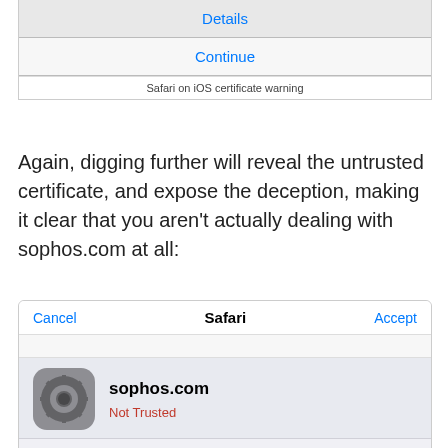[Figure (screenshot): iOS Safari certificate warning dialog showing Details and Continue buttons on gray background]
Safari on iOS certificate warning
Again, digging further will reveal the untrusted certificate, and expose the deception, making it clear that you aren't actually dealing with sophos.com at all:
[Figure (screenshot): iOS Safari certificate detail screen showing Cancel and Accept buttons, sophos.com with gear icon, Not Trusted in red, and expiry date Jan 20, 2014, 6:50:16 PM]